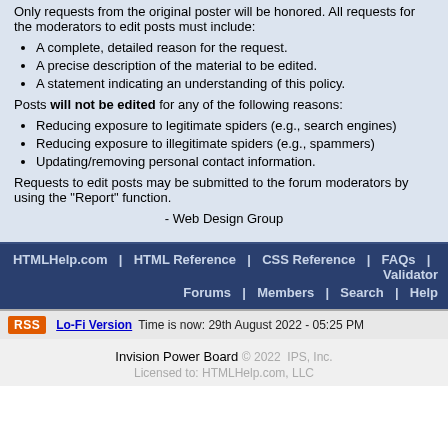Only requests from the original poster will be honored. All requests for the moderators to edit posts must include:
A complete, detailed reason for the request.
A precise description of the material to be edited.
A statement indicating an understanding of this policy.
Posts will not be edited for any of the following reasons:
Reducing exposure to legitimate spiders (e.g., search engines)
Reducing exposure to illegitimate spiders (e.g., spammers)
Updating/removing personal contact information.
Requests to edit posts may be submitted to the forum moderators by using the "Report" function.
- Web Design Group
HTMLHelp.com | HTML Reference | CSS Reference | FAQs | Validator
Forums | Members | Search | Help
RSS  Lo-Fi Version  Time is now: 29th August 2022 - 05:25 PM
Invision Power Board © 2022  IPS, Inc.
Licensed to: HTMLHelp.com, LLC